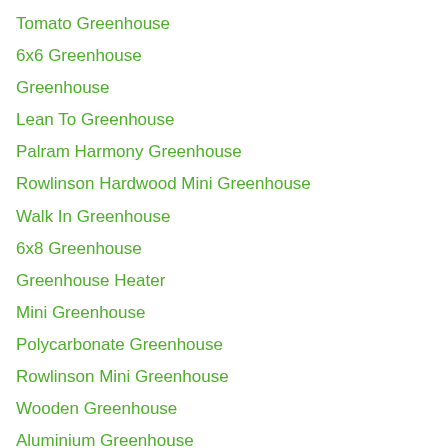Tomato Greenhouse
6x6 Greenhouse
Greenhouse
Lean To Greenhouse
Palram Harmony Greenhouse
Rowlinson Hardwood Mini Greenhouse
Walk In Greenhouse
6x8 Greenhouse
Greenhouse Heater
Mini Greenhouse
Polycarbonate Greenhouse
Rowlinson Mini Greenhouse
Wooden Greenhouse
Aluminium Greenhouse
Greenhouse Plastic